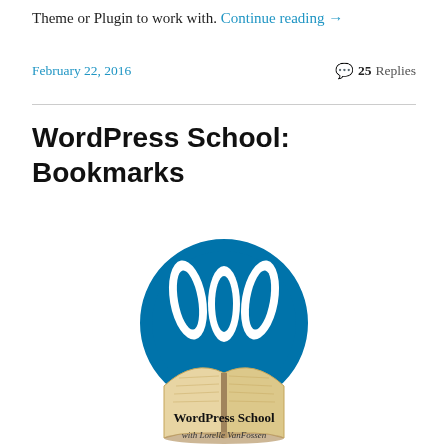Theme or Plugin to work with. Continue reading →
February 22, 2016   💬 25 Replies
WordPress School: Bookmarks
[Figure (logo): WordPress School with Lorelle VanFossen logo: WordPress circular blue logo with white W mark, overlaid with an open book illustration, and text 'WordPress School with Lorelle VanFossen' below]